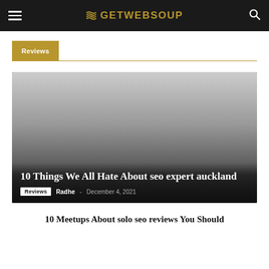GETWEBSOUP
Reviews
[Figure (photo): Article card with gradient image background fading from light gray to dark gray/black, overlaid with article title and metadata]
10 Things We All Hate About seo expert auckland
Reviews  Radhe - December 4, 2021
10 Meetups About solo seo reviews You Should